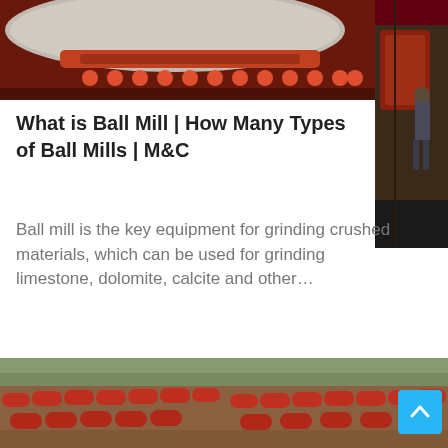[Figure (photo): Close-up photo of large industrial ball mill machinery with red cylindrical drum and orange mechanical components, worker visible at right]
What is Ball Mill | How Many Types of Ball Mills | M&C
Ball mill is the key equipment for grinding crushed materials, which can be used for grinding limestone, dolomite, calcite and other…
[Figure (photo): Aerial/wide-angle photograph of an open-pit mining site with multiple red cylindrical ball mills arranged in rows on excavated terrain, construction equipment visible]